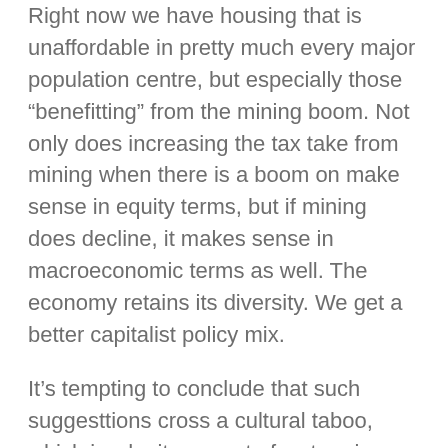Right now we have housing that is unaffordable in pretty much every major population centre, but especially those “benefitting” from the mining boom. Not only does increasing the tax take from mining when there is a boom on make sense in equity terms, but if mining does decline, it makes sense in macroeconomic terms as well. The economy retains its diversity. We get a better capitalist policy mix.
It’s tempting to conclude that such suggesttions cross a cultural taboo, which is why it occurs to few to raise them, but is there some other reason within mainstream politics for not at least discussing such options?
*disclosure: hubby is happy because he buys his books on Amazon in the US and the UK, and buys collectibles on ebay. He’s happy about it but I